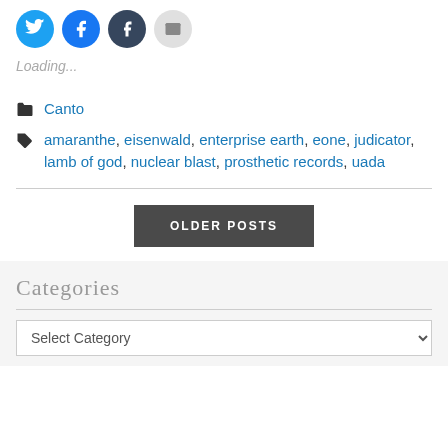[Figure (other): Row of social sharing icon buttons: Twitter (blue circle), Facebook (blue circle), Tumblr (dark circle), Email (gray circle)]
Loading...
Canto
amaranthe, eisenwald, enterprise earth, eone, judicator, lamb of god, nuclear blast, prosthetic records, uada
OLDER POSTS
Categories
Select Category